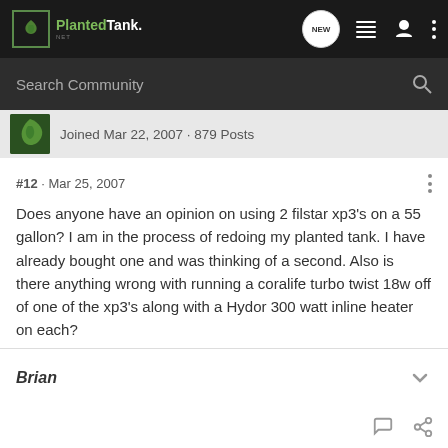PlantedTank - NEW (navigation icons)
Search Community
Joined Mar 22, 2007 · 879 Posts
#12 · Mar 25, 2007
Does anyone have an opinion on using 2 filstar xp3's on a 55 gallon? I am in the process of redoing my planted tank. I have already bought one and was thinking of a second. Also is there anything wrong with running a coralife turbo twist 18w off of one of the xp3's along with a Hydor 300 watt inline heater on each?
Brian